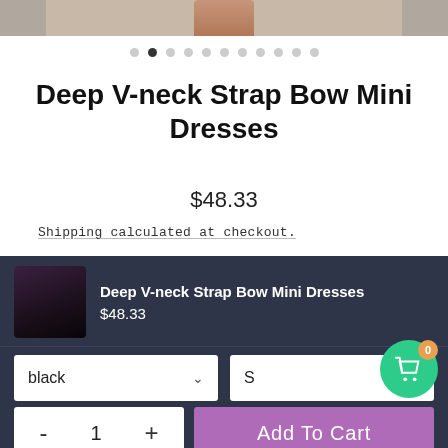[Figure (photo): Product image strip at top showing dress photo thumbnails]
[Figure (other): Carousel navigation dots, second dot active]
Deep V-neck Strap Bow Mini Dresses
$48.33
Shipping calculated at checkout.
COLOR
SIZE
black (dropdown)
S (dropdown)
SHARE
[Figure (screenshot): Sticky bottom bar with product thumbnail, title Deep V-neck Strap Bow Mini Dresses, price $48.33, color dropdown black, size dropdown S, quantity control - 1 +, and Add To Cart button]
Deep V-neck Strap Bow Mini Dresses
$48.33
black
S
- 1 +
Add To Cart